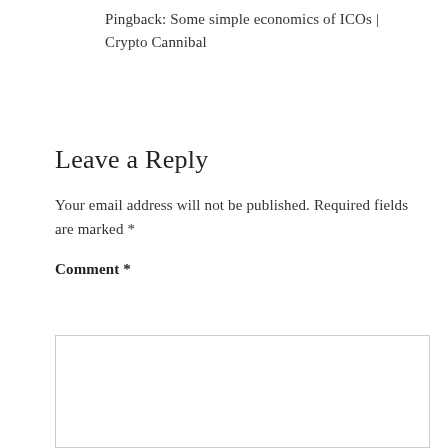Pingback: Some simple economics of ICOs | Crypto Cannibal
Leave a Reply
Your email address will not be published. Required fields are marked *
Comment *